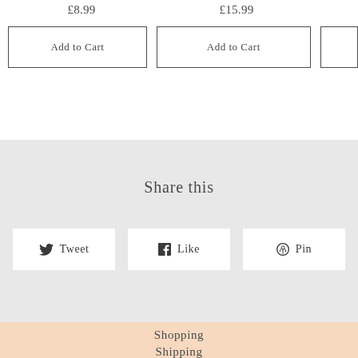£8.99
£15.99
Add to Cart
Add to Cart
Share this
Tweet
Like
Pin
Shopping
Shipping